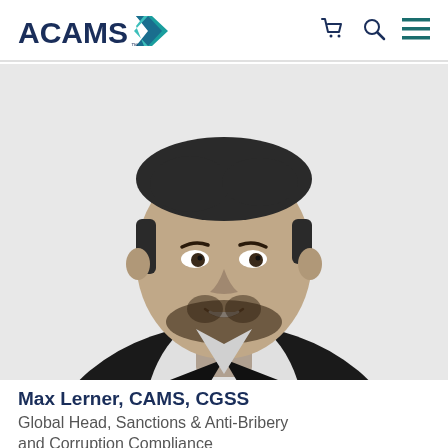[Figure (logo): ACAMS logo with teal chevron/arrow shape to the right of bold dark navy text 'ACAMS']
[Figure (photo): Black and white professional headshot of a young man in a dark suit jacket with an open collar shirt, smiling at the camera with short dark hair and a beard]
Max Lerner, CAMS, CGSS
Global Head, Sanctions & Anti-Bribery and Corruption Compliance